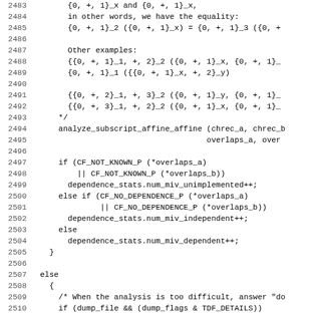Source code listing lines 2483-2514, showing C code for analyze_subscript_affine_affine function with comments and dependence analysis logic.